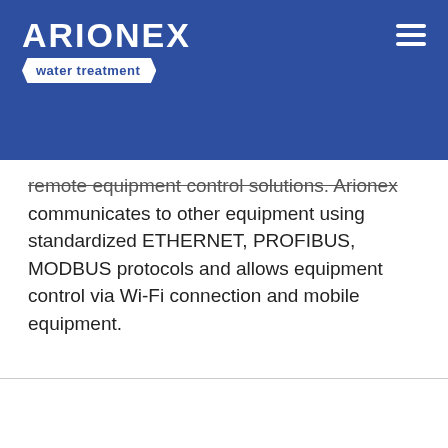ARIONEX water treatment
remote equipment control solutions. Arionex communicates to other equipment using standardized ETHERNET, PROFIBUS, MODBUS protocols and allows equipment control via Wi-Fi connection and mobile equipment.